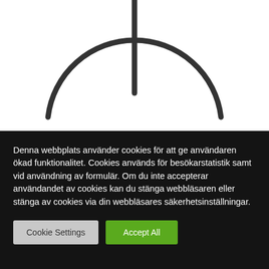[Figure (illustration): Partial view of a circular arc symbol with a vertical line extending upward from the top center, resembling a ground or earth electrical symbol, rendered in dark gray on white background.]
Denna webbplats använder cookies för att ge användaren ökad funktionalitet. Cookies används för besökarstatistik samt vid användning av formulär. Om du inte accepterar användandet av cookies kan du stänga webbläsaren eller stänga av cookies via din webbläsares säkerhetsinställningar.